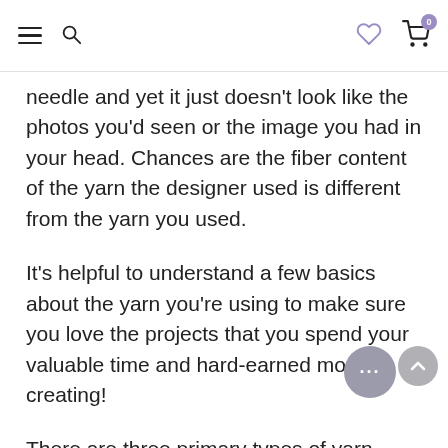Navigation header with hamburger menu, search icon, heart/wishlist icon, and cart icon (0 items)
needle and yet it just doesn't look like the photos you'd seen or the image you had in your head. Chances are the fiber content of the yarn the designer used is different from the yarn you used.
It's helpful to understand a few basics about the yarn you're using to make sure you love the projects that you spend your valuable time and hard-earned money creating!
There are three primary types of yarn based on what they're made from - animal, plant and synthetic - and the properties of each type of